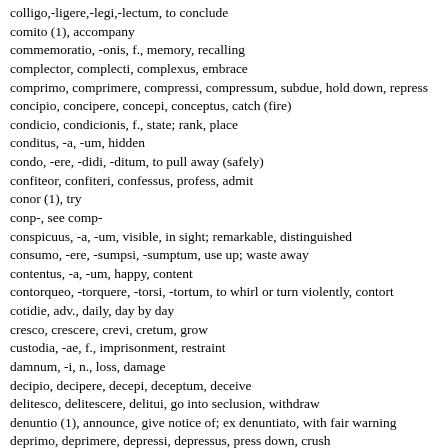colligo,-ligere,-legi,-lectum, to conclude
comito (1), accompany
commemoratio, -onis, f., memory, recalling
complector, complecti, complexus, embrace
comprimo, comprimere, compressi, compressum, subdue, hold down, repress
concipio, concipere, concepi, conceptus, catch (fire)
condicio, condicionis, f., state; rank, place
conditus, -a, -um, hidden
condo, -ere, -didi, -ditum, to pull away (safely)
confiteor, confiteri, confessus, profess, admit
conor (1), try
conp-, see comp-
conspicuus, -a, -um, visible, in sight; remarkable, distinguished
consumo, -ere, -sumpsi, -sumptum, use up; waste away
contentus, -a, -um, happy, content
contorqueo, -torquere, -torsi, -tortum, to whirl or turn violently, contort
cotidie, adv., daily, day by day
cresco, crescere, crevi, cretum, grow
custodia, -ae, f., imprisonment, restraint
damnum, -i, n., loss, damage
decipio, decipere, decepi, deceptum, deceive
delitesco, delitescere, delitui, go into seclusion, withdraw
denuntio (1), announce, give notice of; ex denuntiato, with fair warning
deprimo, deprimere, depressi, depressus, press down, crush
desidero (1), to want or wish
desino, desinere, desi(v)i, desitum, cease
deterreo, deterrere, deterrui, deterritus, frighten, scare, put off, deter
detraho, detrahere, detraxi, detractus, reduce, take away from
dico (1), t...